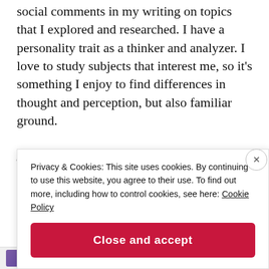social comments in my writing on topics that I explored and researched. I have a personality trait as a thinker and analyzer. I love to study subjects that interest me, so it's something I enjoy to find differences in thought and perception, but also familiar ground.
Privacy & Cookies: This site uses cookies. By continuing to use this website, you agree to their use. To find out more, including how to control cookies, see here: Cookie Policy
Close and accept